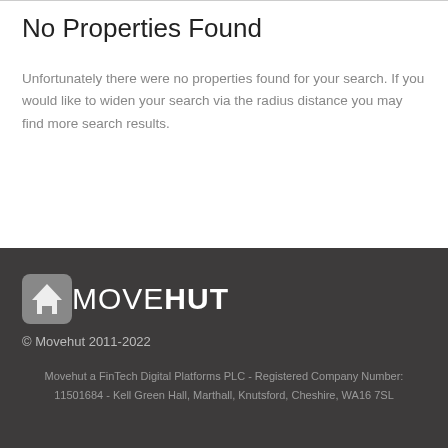No Properties Found
Unfortunately there were no properties found for your search. If you would like to widen your search via the radius distance you may find more search results.
[Figure (logo): Movehut logo — house icon in rounded square followed by MOVEHUT text in bold white letters]
© Movehut 2011-2022
Movehut a FinTech Digital Platforms PLC - Registered Company Number:
11501684 - Kell Green Hall, Marthall, Knutsford, Cheshire, WA16 7SL